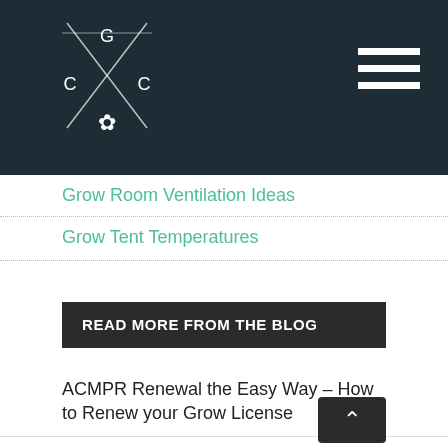[Figure (logo): CGC logo with cannabis leaf on dark teal/navy background, with hamburger menu icon on the right]
Grow Room Ventilation Ideas
Grow Tent Temperatures
READ MORE FROM THE BLOG
ACMPR Renewal the Easy Way – How to Renew your Grow License
The Best Marijuana Strains for ADHD/ADD
The 23 Best Cannabis Strains for Anxiety